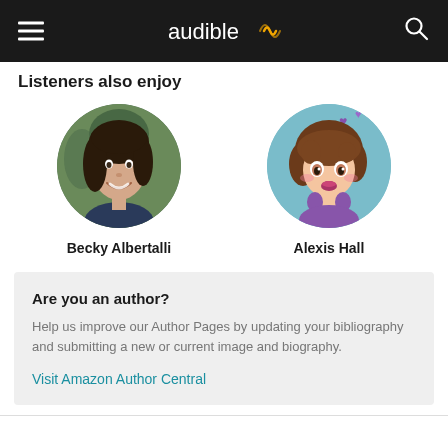audible
Listeners also enjoy
[Figure (photo): Circular portrait photo of author Becky Albertalli — a woman with dark hair smiling outdoors]
Becky Albertalli
[Figure (illustration): Circular cartoon avatar illustration of author Alexis Hall — anime-style character with short brown hair and purple hearts]
Alexis Hall
Are you an author?
Help us improve our Author Pages by updating your bibliography and submitting a new or current image and biography.
Visit Amazon Author Central